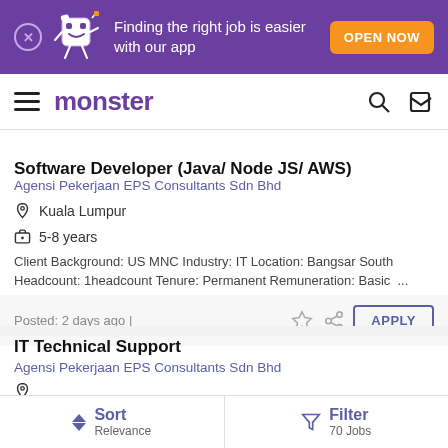[Figure (screenshot): Purple app download banner with mascot, showing 'Finding the right job is easier with our app' and 'OPEN NOW' button]
monster
Software Developer (Java/ Node JS/ AWS)
Agensi Pekerjaan EPS Consultants Sdn Bhd
Kuala Lumpur
5-8 years
Client Background: US MNC Industry: IT Location: Bangsar South Headcount: 1headcount Tenure: Permanent Remuneration: Basic ...
Posted: 2 days ago |
IT Technical Support
Agensi Pekerjaan EPS Consultants Sdn Bhd
Sort Relevance  Filter 70 Jobs